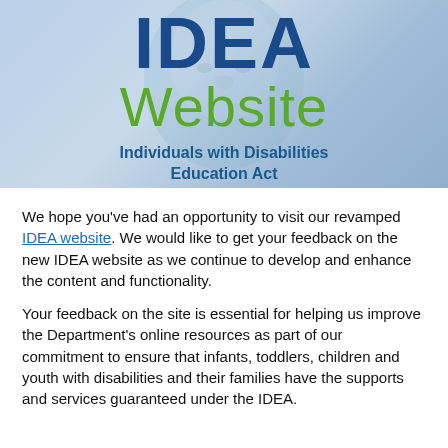[Figure (illustration): Banner image with a baby's face in a light blue background. Large bold dark blue text 'IDEA' at top, large green text 'Website' below it, and dark blue bold subtitle text 'Individuals with Disabilities Education Act'.]
We hope you've had an opportunity to visit our revamped IDEA website. We would like to get your feedback on the new IDEA website as we continue to develop and enhance the content and functionality.
Your feedback on the site is essential for helping us improve the Department's online resources as part of our commitment to ensure that infants, toddlers, children and youth with disabilities and their families have the supports and services guaranteed under the IDEA.